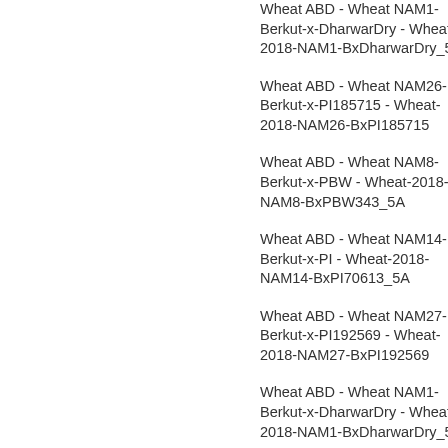Wheat ABD - Wheat NAM1-Berkut-x-DharwarDry - Wheat-2018-NAM1-BxDharwarDry_5A
Wheat ABD - Wheat NAM26-Berkut-x-PI185715 - Wheat-2018-NAM26-BxPI185715
Wheat ABD - Wheat NAM8-Berkut-x-PBW - Wheat-2018-NAM8-BxPBW343_5A
Wheat ABD - Wheat NAM14-Berkut-x-PI - Wheat-2018-NAM14-BxPI70613_5A
Wheat ABD - Wheat NAM27-Berkut-x-PI192569 - Wheat-2018-NAM27-BxPI192569
Wheat ABD - Wheat NAM1-Berkut-x-DharwarDry - Wheat-2018-NAM1-BxDharwarDry_5A